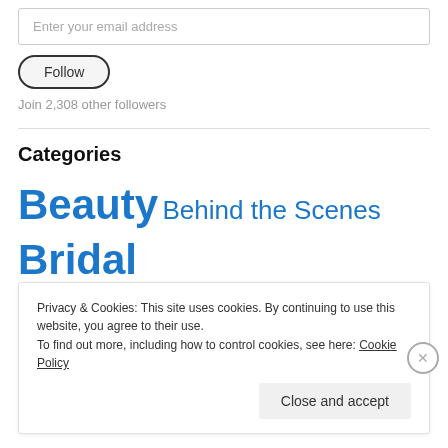Enter your email address
Follow
Join 2,308 other followers
Categories
Beauty  Behind the Scenes  Bridal
Privacy & Cookies: This site uses cookies. By continuing to use this website, you agree to their use. To find out more, including how to control cookies, see here: Cookie Policy
Close and accept